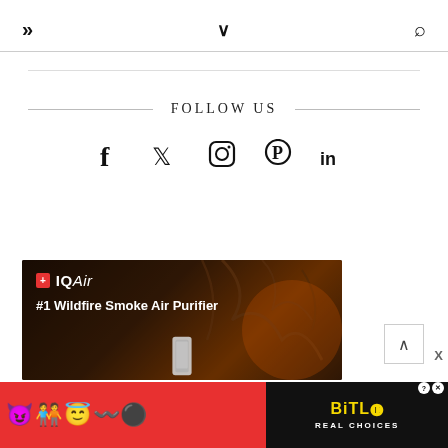» ∨ 🔍
FOLLOW US
Social media icons: Facebook, Twitter, Instagram, Pinterest, LinkedIn
[Figure (photo): IQAir advertisement banner showing '#1 Wildfire Smoke Air Purifier' with dark smoky background and air purifier product image]
[Figure (photo): BitLife mobile game advertisement with red background, emoji characters, and 'REAL CHOICES' tagline]